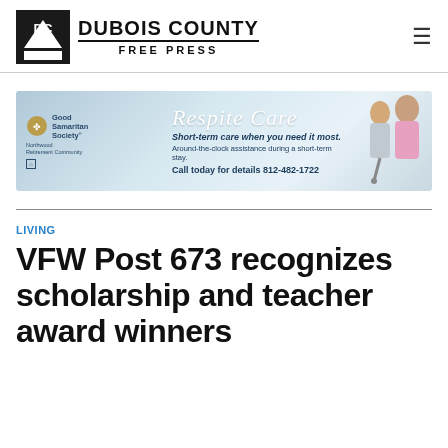DUBOIS COUNTY FREE PRESS
[Figure (infographic): Good Samaritan Society advertisement for Respite Care. Text reads: 'Respite Care - Short-term care when you need it most. Around-the-clock assistance during a short-term stay. Call today for details 812-482-1722'. Shows two women, one a nurse.]
LIVING
VFW Post 673 recognizes scholarship and teacher award winners